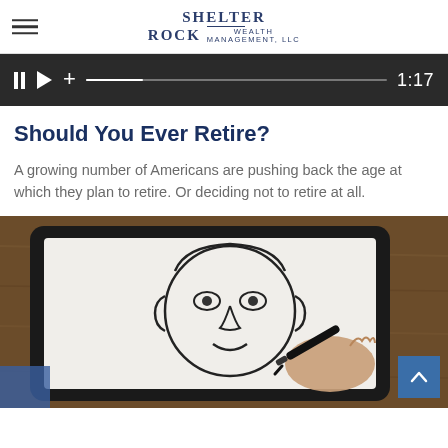Shelter Rock Wealth Management, LLC
[Figure (screenshot): Video player control bar showing pause, play, plus buttons, a progress bar, and time display showing 1:17]
Should You Ever Retire?
A growing number of Americans are pushing back the age at which they plan to retire. Or deciding not to retire at all.
[Figure (photo): Close-up photo of a hand drawing on a tablet/whiteboard with a black marker, showing a sketch of a face, set on a wooden surface background]